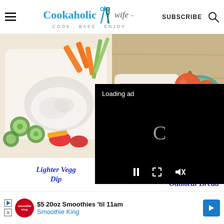Cookaholic Wife — COOK . BAKE . ENJOY — SUBSCRIBE
[Figure (photo): Vegetable platter with dip — carrots, cucumber slices, celery, bell peppers with white creamy dip in glass bowl]
[Figure (photo): Sliced oatmeal bread on white plate with apples in teal bowl and cinnamon sticks on wooden surface]
[Figure (screenshot): Video player overlay showing Loading ad with spinner and playback controls (pause, expand, mute)]
Lighter Vegg Dip
Oatmeal Bread
[Figure (infographic): Advertisement banner: $5 20oz Smoothies til 11am — Smoothie King, with play and close buttons and navigation arrow]